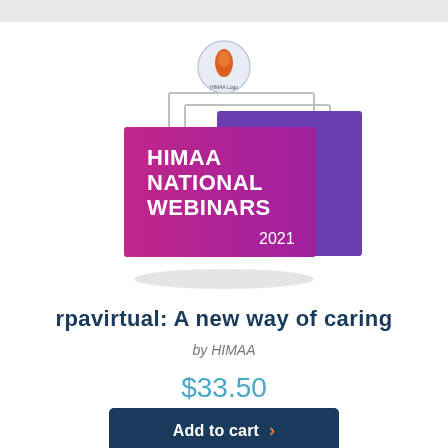[Figure (logo): HIMAA National Webinars 2021 logo with circular HIMAA emblem above overlapping magenta/pink and purple rectangles with white text reading HIMAA NATIONAL WEBINARS 2021]
rpavirtual: A new way of caring
by HIMAA
$33.50
Add to cart